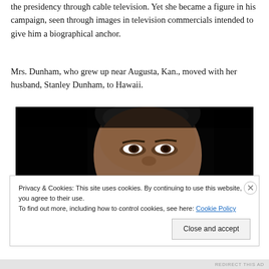the presidency through cable television. Yet she became a figure in his campaign, seen through images in television commercials intended to give him a biographical anchor.
Mrs. Dunham, who grew up near Augusta, Kan., moved with her husband, Stanley Dunham, to Hawaii.
[Figure (photo): Close-up photograph of a man's face against a dark/black background, showing the upper half of the face including eyes, forehead, and graying hair.]
Privacy & Cookies: This site uses cookies. By continuing to use this website, you agree to their use.
To find out more, including how to control cookies, see here: Cookie Policy
REDIRECT THIS AD